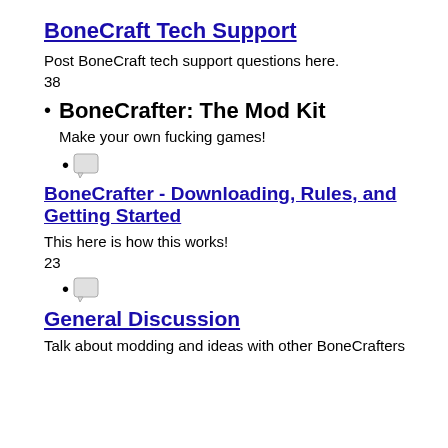BoneCraft Tech Support
Post BoneCraft tech support questions here.
38
BoneCrafter: The Mod Kit
Make your own fucking games!
[chat icon]
BoneCrafter - Downloading, Rules, and Getting Started
This here is how this works!
23
[chat icon]
General Discussion
Talk about modding and ideas with other BoneCrafters